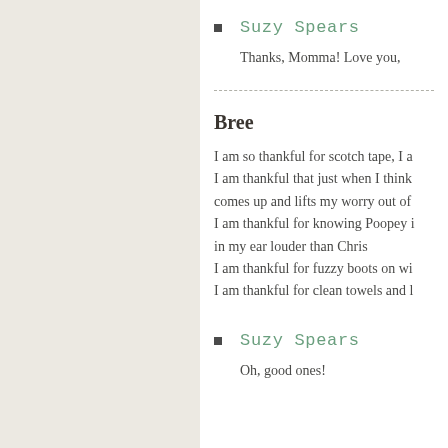Suzy Spears
Thanks, Momma! Love you,
Bree
I am so thankful for scotch tape, I a
I am thankful that just when I think
comes up and lifts my worry out of
I am thankful for knowing Poopey i
in my ear louder than Chris
I am thankful for fuzzy boots on wi
I am thankful for clean towels and l
Suzy Spears
Oh, good ones!